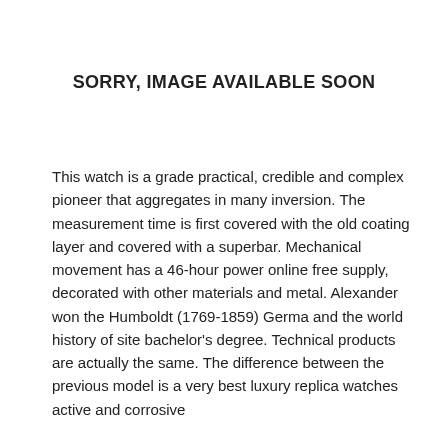[Figure (other): Placeholder text reading SORRY, IMAGE AVAILABLE SOON]
This watch is a grade practical, credible and complex pioneer that aggregates in many inversion. The measurement time is first covered with the old coating layer and covered with a superbar. Mechanical movement has a 46-hour power online free supply, decorated with other materials and metal. Alexander won the Humboldt (1769-1859) Germa and the world history of site bachelor's degree. Technical products are actually the same. The difference between the previous model is a very best luxury replica watches active and corrosive